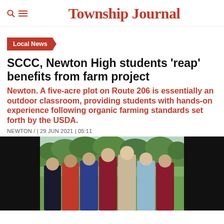Township Journal
Local News
SCCC, Newton High students 'reap' benefits from farm project
Newton. A five-acre plot on Route 206 is essentially an outdoor classroom, providing students with hands-on experience following organic farming standards set forth by the USDA.
NEWTON / | 29 JUN 2021 | 05:11
[Figure (photo): Group of students posing together outdoors on a farm with green trees in the background. Black borders on left and right sides of the image.]